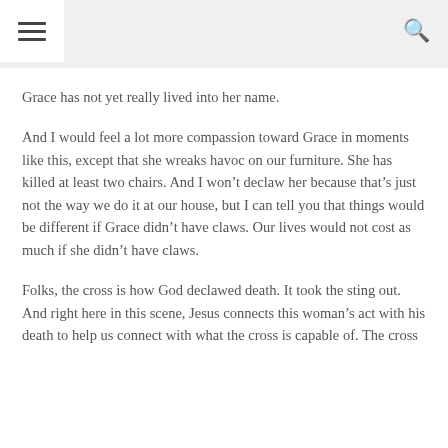Navigation menu and search
Grace has not yet really lived into her name.
And I would feel a lot more compassion toward Grace in moments like this, except that she wreaks havoc on our furniture. She has killed at least two chairs. And I won’t declaw her because that’s just not the way we do it at our house, but I can tell you that things would be different if Grace didn’t have claws. Our lives would not cost as much if she didn’t have claws.
Folks, the cross is how God declawed death. It took the sting out. And right here in this scene, Jesus connects this woman’s act with his death to help us connect with what the cross is capable of. The cross